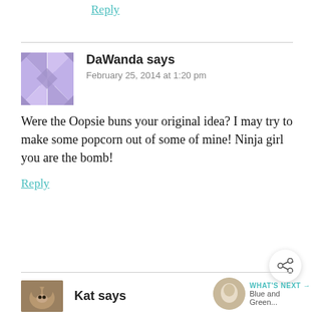Reply
[Figure (illustration): Purple/lavender geometric quilt-pattern avatar for user DaWanda]
DaWanda says
February 25, 2014 at 1:20 pm
Were the Oopsie buns your original idea? I may try to make some popcorn out of some of mine! Ninja girl you are the bomb!
Reply
[Figure (illustration): Brown/tan cat photo avatar for user Kat]
Kat says